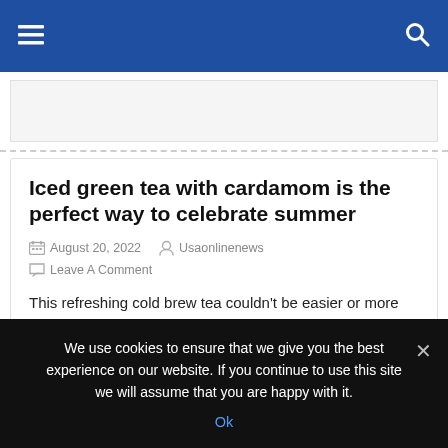Navigation bar with hamburger menu and search icon
[Figure (other): Advertisement banner placeholder]
Iced green tea with cardamom is the perfect way to celebrate summer
August 20, 2022   Usaonlinenews   Leave A Comment
This refreshing cold brew tea couldn't be easier or more hands-off to make …read more Source:: Salon   Read More…
We use cookies to ensure that we give you the best experience on our website. If you continue to use this site we will assume that you are happy with it.
Ok